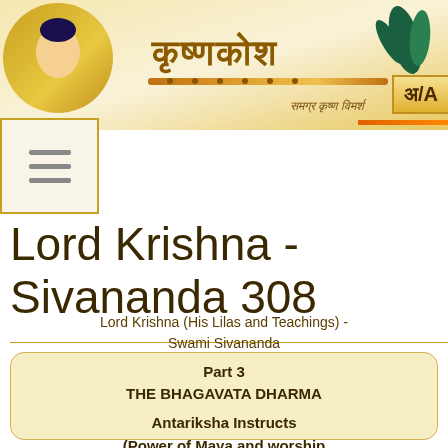[Figure (logo): KrishnaKosha website header with decorative Sanskrit/Devanagari logo text, flute graphic, peacock feathers, and Krishna illustration]
Lord Krishna - Sivananda 308
Lord Krishna (His Lilas and Teachings) - Swami Sivananda
Part 3
THE BHAGAVATA DHARMA
Antariksha Instructs
(Power of Maya and worship of the Lord is described)